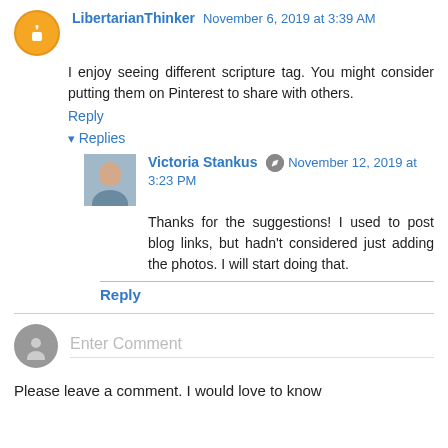LibertarianThinker November 6, 2019 at 3:39 AM
I enjoy seeing different scripture tag. You might consider putting them on Pinterest to share with others.
Reply
Replies
[Figure (photo): Profile photo of Victoria Stankus]
Victoria Stankus November 12, 2019 at 3:23 PM
Thanks for the suggestions! I used to post blog links, but hadn't considered just adding the photos. I will start doing that.
Reply
Enter Comment
Please leave a comment. I would love to know